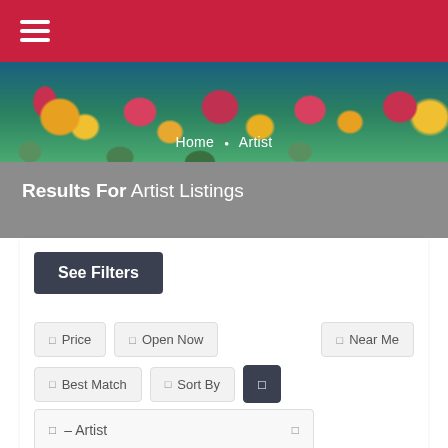Navigation menu bar with hamburger icon
[Figure (photo): Colorful floral background image with tropical flowers in red, yellow, and orange colors]
Home • Artist
Results For Artist Listings
See Filters
Price
Open Now
Near Me
Best Match
Sort By
– Artist